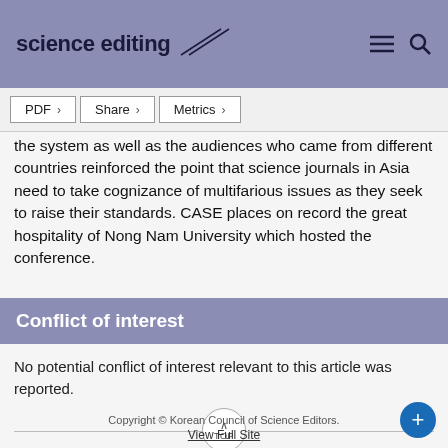science editing
PDF  Share  Metrics
the system as well as the audiences who came from different countries reinforced the point that science journals in Asia need to take cognizance of multifarious issues as they seek to raise their standards. CASE places on record the great hospitality of Nong Nam University which hosted the conference.
Conflict of interest
No potential conflict of interest relevant to this article was reported.
Copyright © Korean Council of Science Editors.
View Full Site